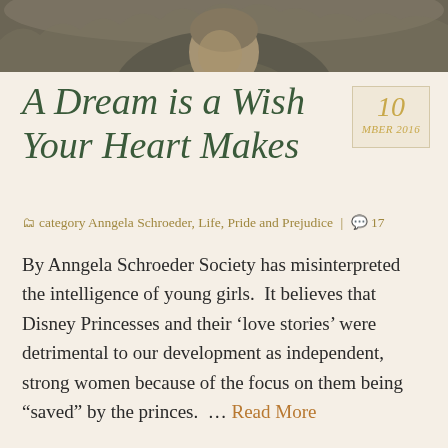[Figure (photo): Top portion of a man in a tweed jacket photographed outdoors with foliage in the background]
A Dream is a Wish Your Heart Makes
10 MBER 2016
category Anngela Schroeder, Life, Pride and Prejudice | 17
By Anngela Schroeder Society has misinterpreted the intelligence of young girls.  It believes that Disney Princesses and their ‘love stories’ were detrimental to our development as independent, strong women because of the focus on them being “saved” by the princes.  … Read More